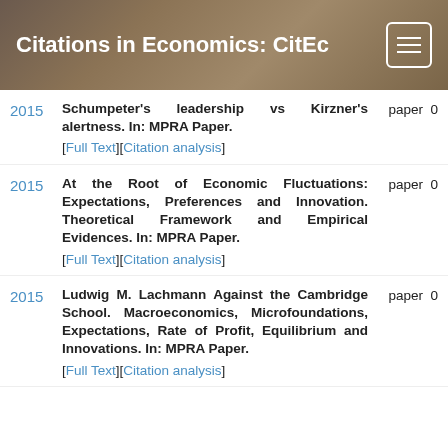Citations in Economics: CitEc
2015 | Schumpeter's leadership vs Kirzner's alertness. In: MPRA Paper. [Full Text][Citation analysis] | paper 0
2015 | At the Root of Economic Fluctuations: Expectations, Preferences and Innovation. Theoretical Framework and Empirical Evidences. In: MPRA Paper. [Full Text][Citation analysis] | paper 0
2015 | Ludwig M. Lachmann Against the Cambridge School. Macroeconomics, Microfoundations, Expectations, Rate of Profit, Equilibrium and Innovations. In: MPRA Paper. [Full Text][Citation analysis] | paper 0